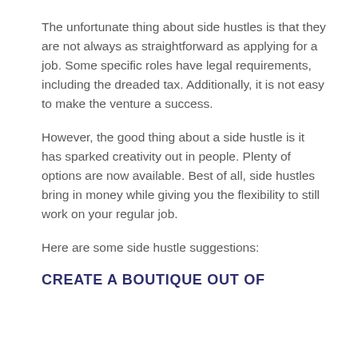The unfortunate thing about side hustles is that they are not always as straightforward as applying for a job. Some specific roles have legal requirements, including the dreaded tax. Additionally, it is not easy to make the venture a success.
However, the good thing about a side hustle is it has sparked creativity out in people. Plenty of options are now available. Best of all, side hustles bring in money while giving you the flexibility to still work on your regular job.
Here are some side hustle suggestions:
CREATE A BOUTIQUE OUT OF